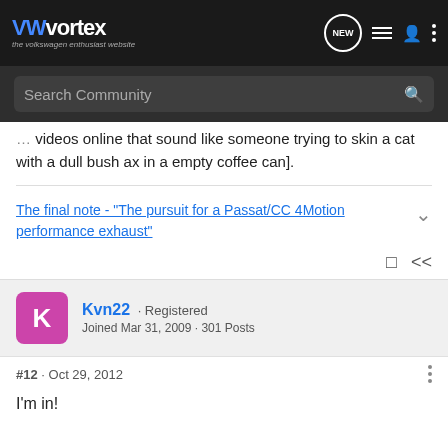VWvortex - the volkswagen enthusiast website
videos online that sound like someone trying to skin a cat with a dull bush ax in a empty coffee can].
The final note - "The pursuit for a Passat/CC 4Motion performance exhaust"
Kvn22 · Registered
Joined Mar 31, 2009 · 301 Posts
#12 · Oct 29, 2012
I'm in!